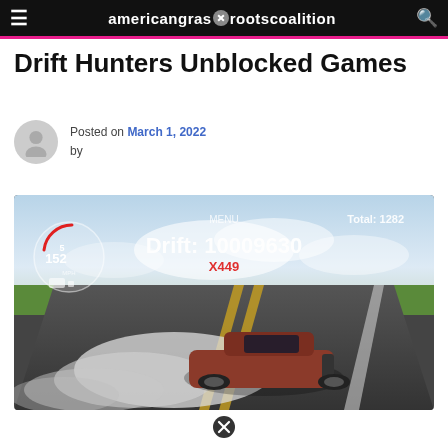americangrassrootscoalition
Drift Hunters Unblocked Games
Posted on March 1, 2022 by
[Figure (screenshot): Screenshot of Drift Hunters game showing a red/orange muscle car drifting on a road with smoke, speedometer showing 152, Drift score: 10009630, X449 multiplier in red, Total: 1282, MENU text visible]
close button icon